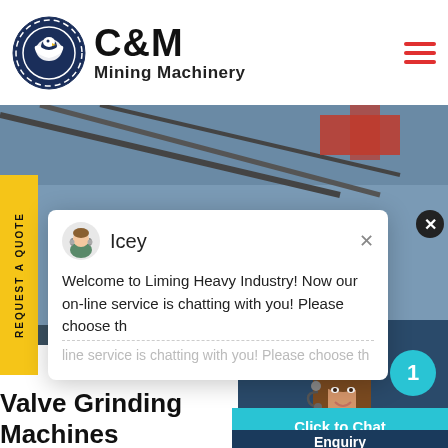[Figure (logo): C&M Mining Machinery logo with circular eagle emblem in navy blue and company name]
[Figure (photo): Hero image of industrial mining machinery facility interior with yellow railings and steel structures]
REQUEST A QUOTE
[Figure (screenshot): Live chat popup with avatar of Icey agent, text: Welcome to Liming Heavy Industry! Now our on-line service is chatting with you! Please choose th...]
[Figure (photo): Customer service agent woman with headset smiling, with teal notification badge showing number 1]
Click to Chat
Valve Grinding Machines
Enquiry